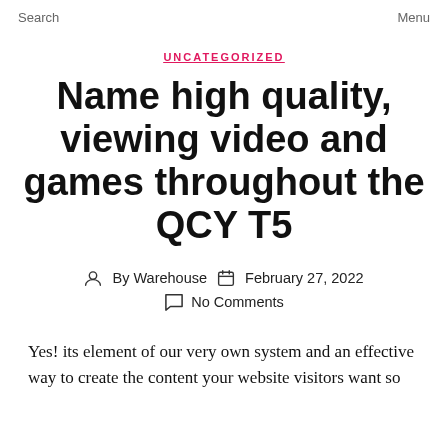Search    Menu
UNCATEGORIZED
Name high quality, viewing video and games throughout the QCY T5
By Warehouse   February 27, 2022
No Comments
Yes! its element of our very own system and an effective way to create the content your website visitors want so